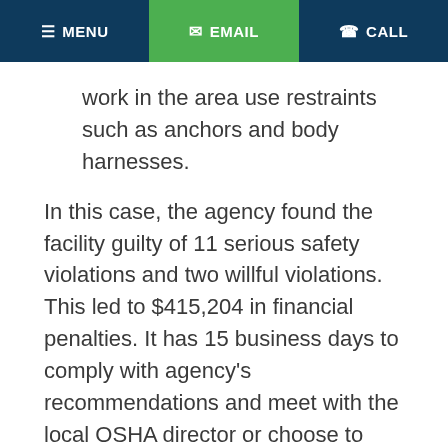MENU  EMAIL  CALL
work in the area use restraints such as anchors and body harnesses.
In this case, the agency found the facility guilty of 11 serious safety violations and two willful violations. This led to $415,204 in financial penalties. It has 15 business days to comply with agency's recommendations and meet with the local OSHA director or choose to contest the agency's findings.
Lessons for workers injured in falls
Those who are injured after a fall at a workplace have options. Employers are